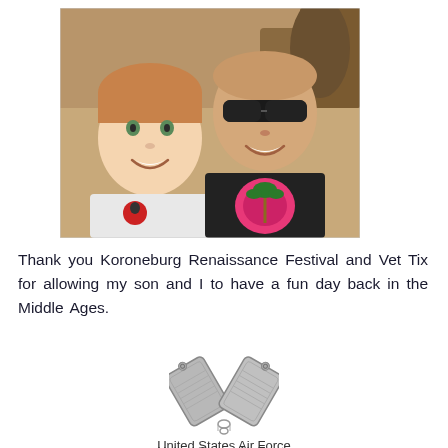[Figure (photo): Photo of a young boy and an adult man wearing sunglasses and a black shirt with a pink graphic, smiling together outdoors at what appears to be a Renaissance festival setting.]
Thank you Koroneburg Renaissance Festival and Vet Tix for allowing my son and I to have a fun day back in the Middle Ages.
[Figure (illustration): Military dog tags forming a V shape on a chain, representing veteran status.]
United States Air Force
Veteran
1990 - 1994